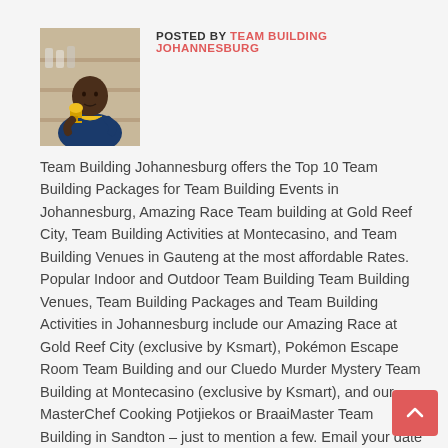[Figure (photo): Photo of a man in a yellow and navy polo shirt holding a trophy, standing in front of shelves]
POSTED BY TEAM BUILDING JOHANNESBURG
Team Building Johannesburg offers the Top 10 Team Building Packages for Team Building Events in Johannesburg, Amazing Race Team building at Gold Reef City, Team Building Activities at Montecasino, and Team Building Venues in Gauteng at the most affordable Rates. Popular Indoor and Outdoor Team Building Team Building Venues, Team Building Packages and Team Building Activities in Johannesburg include our Amazing Race at Gold Reef City (exclusive by Ksmart), Pokémon Escape Room Team Building and our Cluedo Murder Mystery Team Building at Montecasino (exclusive by Ksmart), and our MasterChef Cooking Potjiekos or BraaiMaster Team Building in Sandton – just to mention a few. Email your date and number of people to quotes@ksmart.co.za for instant all-inclusive team building packages and